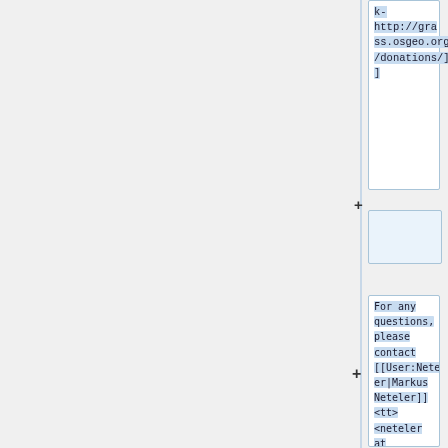k-http://grass.osgeo.org/donations/]]
For any questions, please contact [[User:Neteler|Markus Neteler]] <tt> <neteler at osgeo.org> </tt>. Any surplus at the end of the event will be turped over